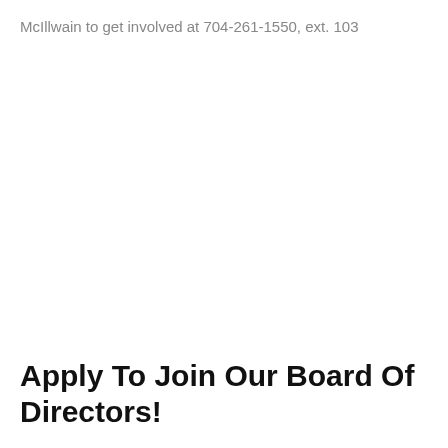McIllwain to get involved at 704-261-1550, ext. 103
Apply To Join Our Board Of Directors!